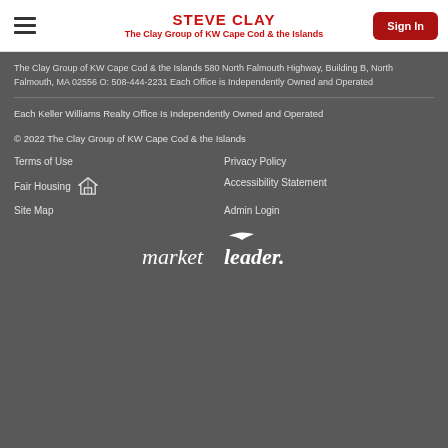STEVE CLAY
The Clay Group of KW Cape Cod & the Islands
The Clay Group of KW Cape Cod & the Islands 580 North Falmouth Highway, Building B, North Falmouth, MA 02556 O: 508-444-2231 Each Office is Independently Owned and Operated
Each Keller Williams Realty Office Is Independently Owned and Operated
© 2022 The Clay Group of KW Cape Cod & the Islands
Terms of Use
Privacy Policy
Fair Housing
Accessibility Statement
Site Map
Admin Login
[Figure (logo): market leader. logo in white italic text with a stylized bird above the word leader]